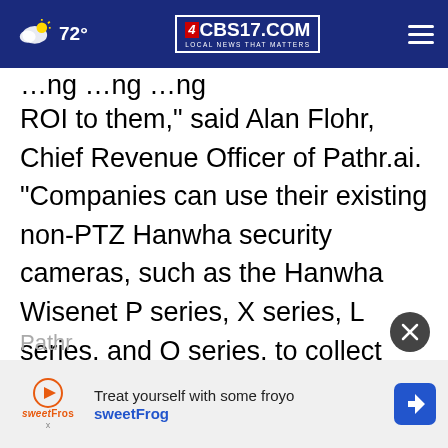72° CBS17.COM LOCAL NEWS THAT MATTERS
ROI to them,” said Alan Flohr, Chief Revenue Officer of Pathr.ai. “Companies can use their existing non-PTZ Hanwha security cameras, such as the Hanwha Wisenet P series, X series, L series, and Q series, to collect meaningful and real-time insights into how people move and interact inside their physical spaces and tie those analytics to business decisions that improve profitability.”
[Figure (screenshot): Advertisement banner for sweetFrog frozen yogurt with logo and arrow icon]
Pathr